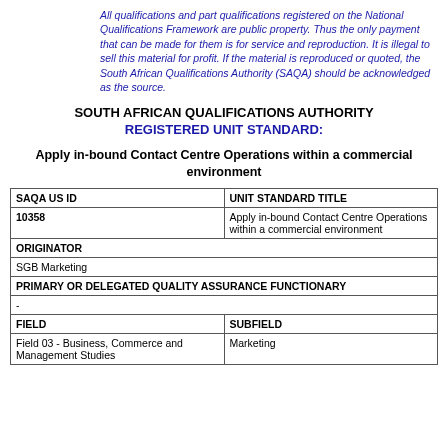All qualifications and part qualifications registered on the National Qualifications Framework are public property. Thus the only payment that can be made for them is for service and reproduction. It is illegal to sell this material for profit. If the material is reproduced or quoted, the South African Qualifications Authority (SAQA) should be acknowledged as the source.
SOUTH AFRICAN QUALIFICATIONS AUTHORITY
REGISTERED UNIT STANDARD:
Apply in-bound Contact Centre Operations within a commercial environment
| SAQA US ID | UNIT STANDARD TITLE |
| --- | --- |
| 10358 | Apply in-bound Contact Centre Operations within a commercial environment |
| ORIGINATOR |  |
| SGB Marketing |  |
| PRIMARY OR DELEGATED QUALITY ASSURANCE FUNCTIONARY |  |
| - |  |
| FIELD | SUBFIELD |
| Field 03 - Business, Commerce and Management Studies | Marketing |